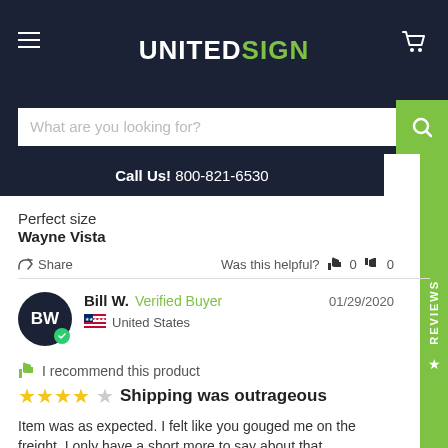[Figure (screenshot): UnitedSign website header with logo, hamburger menu, cart icon, search bar, and call us bar]
Perfect size
Wayne Vista
Share   Was this helpful? 0  0
Bill W.  Verified Buyer   01/29/2020
United States
I recommend this product
Shipping was outrageous
Item was as expected. I felt like you gouged me on the freight. I only have a short more to say about that.